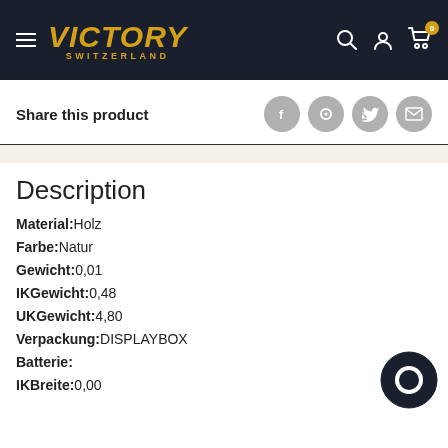VICTORY SWITZERLAND
Share this product
Description
Material:Holz
Farbe:Natur
Gewicht:0,01
IKGewicht:0,48
UKGewicht:4,80
Verpackung:DISPLAYBOX
Batterie:
IKBreite:0,00